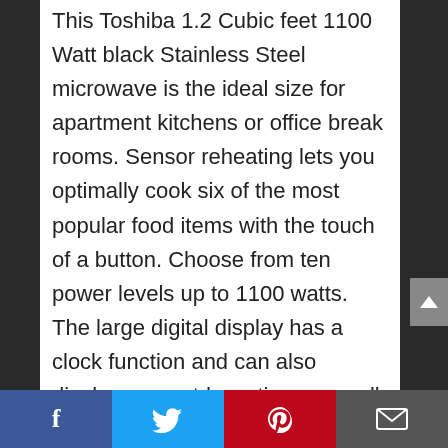This Toshiba 1.2 Cubic feet 1100 Watt black Stainless Steel microwave is the ideal size for apartment kitchens or office break rooms. Sensor reheating lets you optimally cook six of the most popular food items with the touch of a button. Choose from ten power levels up to 1100 watts. The large digital display has a clock function and can also display a countdown timer as well as the cooking time remaining. Program up to three favorite time and power combinations for additional one-touch convenience. Easily open or close the microwave with the large, easy-to grip door handle. The black Stainless Steel exterior looks good in any kitchen.
Facebook | Twitter | Pinterest | Email